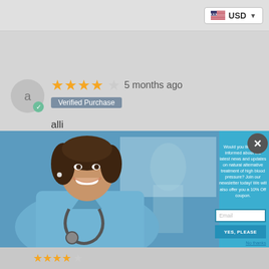[Figure (screenshot): Top navigation bar with USD currency selector showing US flag and dropdown arrow]
[Figure (screenshot): Product review entry showing 4-star rating, '5 months ago' timestamp, Verified Purchase badge, avatar circle with letter 'a', and reviewer name 'alli']
[Figure (screenshot): Modal popup overlay with photo of smiling female nurse/doctor in blue scrubs with stethoscope on left side, and on right side: newsletter signup text about high blood pressure natural treatment with 10% off coupon offer, email input field, YES PLEASE button, and No thanks link]
[Figure (screenshot): Partial bottom review row with gold star ratings visible at bottom of page]